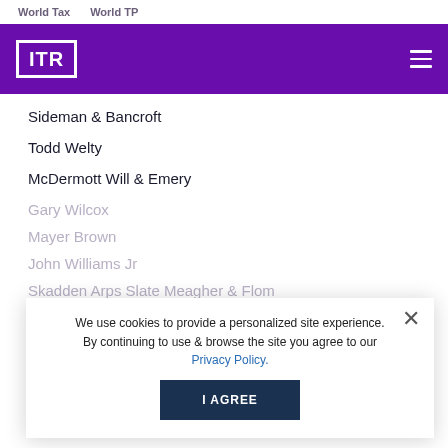World Tax   World TP
[Figure (logo): ITR (International Tax Review) logo — white text in bordered box on purple background header with hamburger menu]
Sideman & Bancroft
Todd Welty
McDermott Will & Emery
Gary Wilcox
Mayer Brown
John Williams Jr
Skadden Arps Slate Meagher & Flom
We use cookies to provide a personalized site experience. By continuing to use & browse the site you agree to our Privacy Policy.